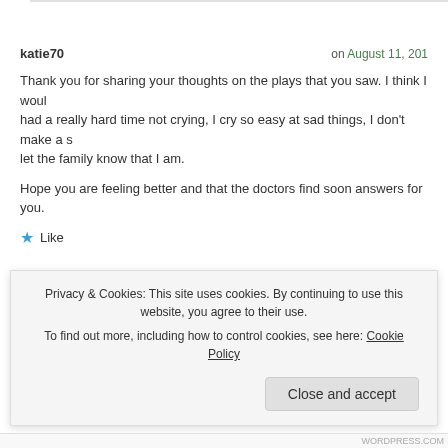katie70 on August 11, 2014
Thank you for sharing your thoughts on the plays that you saw. I think I would had a really hard time not crying, I cry so easy at sad things, I don't make a s let the family know that I am.
Hope you are feeling better and that the doctors find soon answers for you.
Like
kathrynruthd on August 11, 2014
Privacy & Cookies: This site uses cookies. By continuing to use this website, you agree to their use. To find out more, including how to control cookies, see here: Cookie Policy
Close and accept